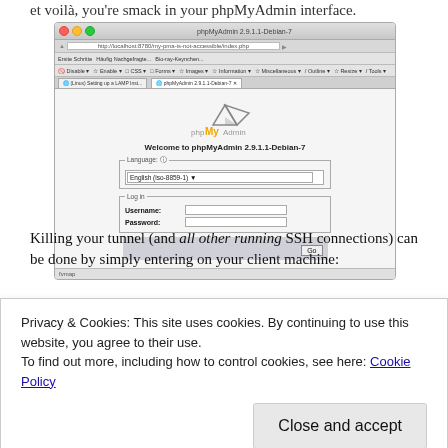et voila, you're smack in your phpMyAdmin interface.
[Figure (screenshot): Screenshot of a web browser showing the phpMyAdmin 2.9.1.1-Debian-7 login interface with Language dropdown set to English (iso-8859-1), and a Log in fieldset with Username and Password fields, plus a Go button.]
Killing your tunnel (and all other running SSH connections) can be done by simply entering on your client machine:
Privacy & Cookies: This site uses cookies. By continuing to use this website, you agree to their use.
To find out more, including how to control cookies, see here: Cookie Policy
Close and accept
We hope you had some fun by conquering this learning curve.